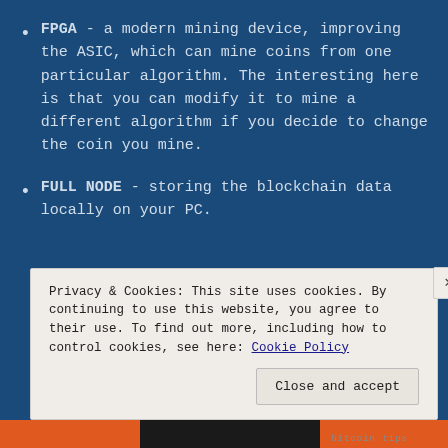FPGA - a modern mining device, improving the ASIC, which can mine coins from one particular algorithm. The interesting here is that you can modify it to mine a different algorithm if you decide to change the coin you mine.
FULL NODE - storing the blockchain data locally on your PC.
Privacy & Cookies: This site uses cookies. By continuing to use this website, you agree to their use. To find out more, including how to control cookies, see here: Cookie Policy
Close and accept